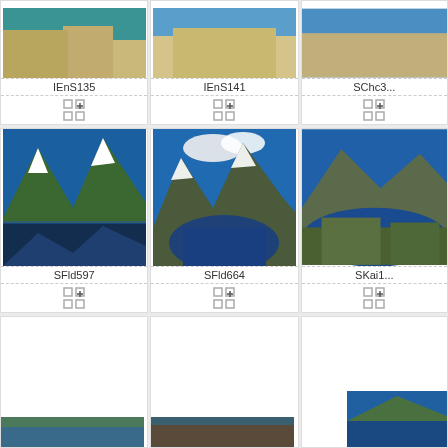[Figure (photo): Aerial view of beach/sand with turquoise water, partially cropped at top - IEnS135]
IEnS135
[Figure (photo): Aerial beach/sand view - IEnS141]
IEnS141
[Figure (photo): Aerial beach view - SChc3...]
SChc3...
[Figure (photo): Mountain fjord landscape with reflection in water - SFld597]
SFld597
[Figure (photo): Mountain fjord landscape aerial view - SFld664]
SFld664
[Figure (photo): Aerial mountain and lake coastal view - SKai1...]
SKai1...
[Figure (photo): Third row cell 1 - partial image at bottom]
[Figure (photo): Third row cell 2 - partial image at bottom]
[Figure (photo): Third row cell 3 - partial coastal/mountain image at bottom]